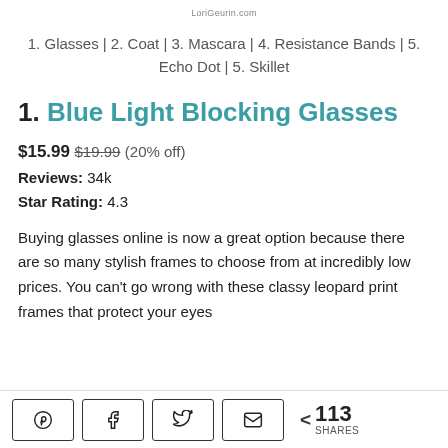LoriGeurin.com
1. Glasses | 2. Coat | 3. Mascara | 4. Resistance Bands | 5. Echo Dot | 5. Skillet
1. Blue Light Blocking Glasses
$15.99 $19.99 (20% off)
Reviews: 34k
Star Rating: 4.3
Buying glasses online is now a great option because there are so many stylish frames to choose from at incredibly low prices. You can’t go wrong with these classy leopard print frames that protect your eyes
113 SHARES (Pinterest, Facebook, Twitter, Email)